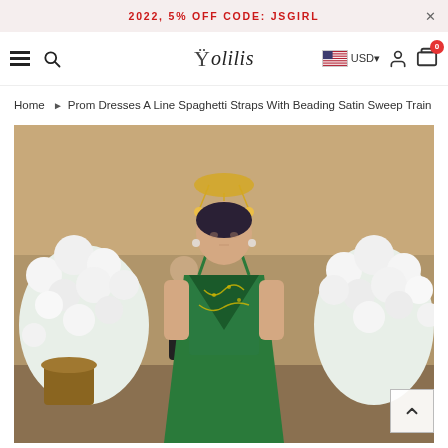2022, 5% OFF CODE: JSGIRL
[Figure (screenshot): Website navigation bar with hamburger menu, search icon, Solilis logo, USD currency selector with US flag, user account icon, and cart icon with 0 badge]
Home ▶ Prom Dresses A Line Spaghetti Straps With Beading Satin Sweep Train
[Figure (photo): Woman wearing a deep green spaghetti strap A-line prom dress with beading details on the bodice, standing in an elegant venue decorated with white floral arrangements and chandelier lighting]